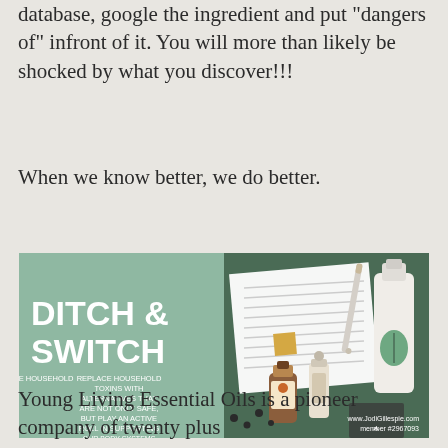database, google the ingredient and put "dangers of" infront of it. You will more than likely be shocked by what you discover!!!
When we know better, we do better.
[Figure (illustration): Ditch & Switch promotional image with green background on the left half showing the text 'DITCH & SWITCH' in large white letters, subtext 'REPLACE HOUSEHOLD TOXINS WITH ALTERNATIVES THAT ARE NOT ONLY SAFE, BUT PLAY AN ACTIVE ROLL IN SUPPORTING OUR BODY SYSTEMS', and on the right half a photo of doTERRA essential oil products including bottles, a roller, a pen, and a checklist paper on a dark green background. Bottom right shows www.JodiGillespie.com member #2967093]
Young Living Essential Oils is a pioneer company of twenty plus